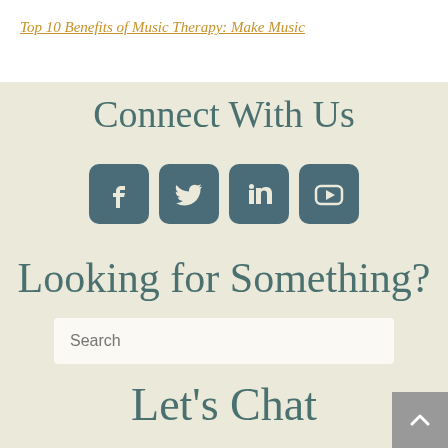Top 10 Benefits of Music Therapy: Make Music
Connect With Us
[Figure (other): Four social media icons in rounded square buttons: Facebook, Twitter, LinkedIn, YouTube]
Looking for Something?
Search
Let's Chat